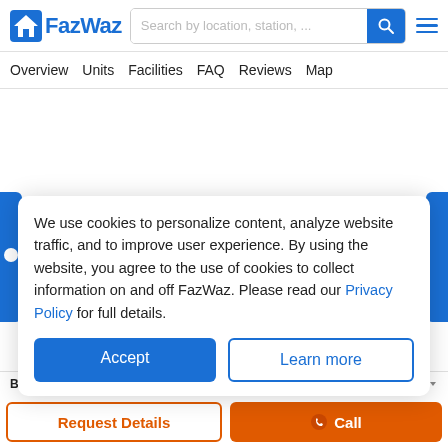[Figure (logo): FazWaz logo with blue house icon and blue text]
Search by location, station, ...
Overview   Units   Facilities   FAQ   Reviews   Map
We use cookies to personalize content, analyze website traffic, and to improve user experience. By using the website, you agree to the use of cookies to collect information on and off FazWaz. Please read our Privacy Policy for full details.
Accept
Learn more
Beds   Property Type   Sort: Recommended
Request Details
Call